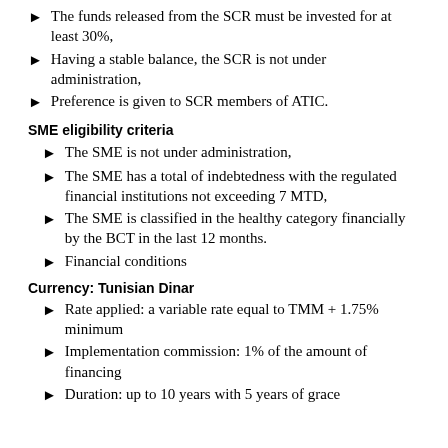The funds released from the SCR must be invested for at least 30%,
Having a stable balance, the SCR is not under administration,
Preference is given to SCR members of ATIC.
SME eligibility criteria
The SME is not under administration,
The SME has a total of indebtedness with the regulated financial institutions not exceeding 7 MTD,
The SME is classified in the healthy category financially by the BCT in the last 12 months.
Financial conditions
Currency: Tunisian Dinar
Rate applied: a variable rate equal to TMM + 1.75% minimum
Implementation commission: 1% of the amount of financing
Duration: up to 10 years with 5 years of grace